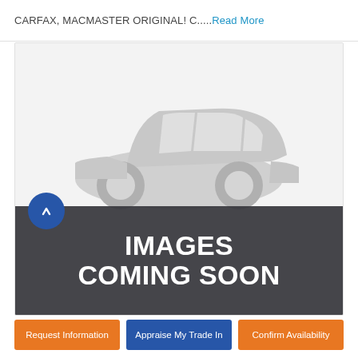CARFAX, MACMASTER ORIGINAL! C.....Read More
[Figure (illustration): Car listing page showing a gray silhouette of a vehicle with 'IMAGES COMING SOON' banner overlay and a blue navigation arrow button on the left]
Request Information
Appraise My Trade In
Confirm Availability
2021 GMC Sierra 1500 Elevation